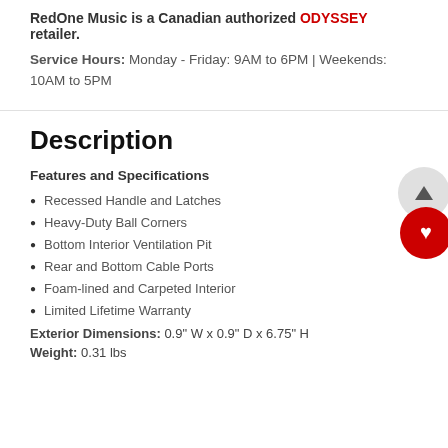RedOne Music is a Canadian authorized ODYSSEY retailer.
Service Hours: Monday - Friday: 9AM to 6PM | Weekends: 10AM to 5PM
Description
Features and Specifications
Recessed Handle and Latches
Heavy-Duty Ball Corners
Bottom Interior Ventilation Pit
Rear and Bottom Cable Ports
Foam-lined and Carpeted Interior
Limited Lifetime Warranty
Exterior Dimensions: 0.9" W x 0.9" D x 6.75" H
Weight: 0.31 lbs